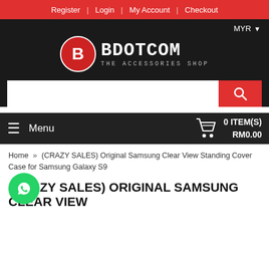Register | Login | My Account | Checkout
[Figure (logo): BDOT.COM The Accessories Shop logo — red circle with B, white text BDOTCOM in monospace, tagline THE ACCESSORIES SHOP]
MYR ▾
≡  Menu   🛒  0 ITEM(S)  RM0.00
Home » (CRAZY SALES) Original Samsung Clear View Standing Cover Case for Samsung Galaxy S9
(CRAZY SALES) ORIGINAL SAMSUNG CLEAR VIEW